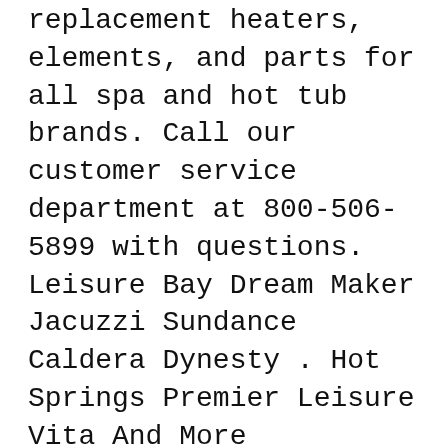replacement heaters, elements, and parts for all spa and hot tub brands. Call our customer service department at 800-506-5899 with questions. Leisure Bay Dream Maker Jacuzzi Sundance Caldera Dynesty . Hot Springs Premier Leisure Vita And More
Balboa 52254 Leisure Bay Spas 4 Button LCD Upper Control Panel 302400. $287.88 $ 287. 88. FREE Shipping. Only 15 left in stock - order soon. 4 Set Spa Hot Tub Cover Broken Latch Repair Kit Have Slot - Replace Latches Clip Lock with Keys and Hardwares. 4.4 out of 5 stars 81. $9.80 $ 9. 80. Circulation pumps, 1.5, 2, 3 & 5 HP pumps. 1 Speed Waterway Executive